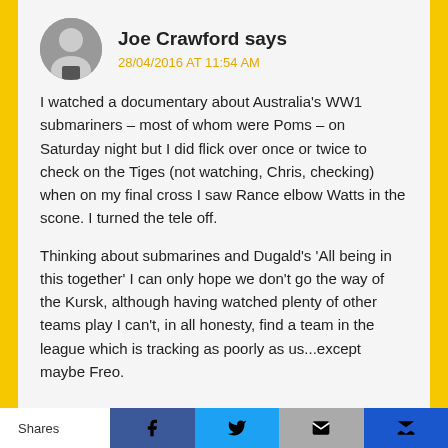Joe Crawford says
28/04/2016 AT 11:54 AM
I watched a documentary about Australia's WW1 submariners – most of whom were Poms – on Saturday night but I did flick over once or twice to check on the Tiges (not watching, Chris, checking) when on my final cross I saw Rance elbow Watts in the scone. I turned the tele off.
Thinking about submarines and Dugald's 'All being in this together' I can only hope we don't go the way of the Kursk, although having watched plenty of other teams play I can't, in all honesty, find a team in the league which is tracking as poorly as us...except maybe Freo.
Shares  [Facebook] [Twitter] [Email] [Crown]